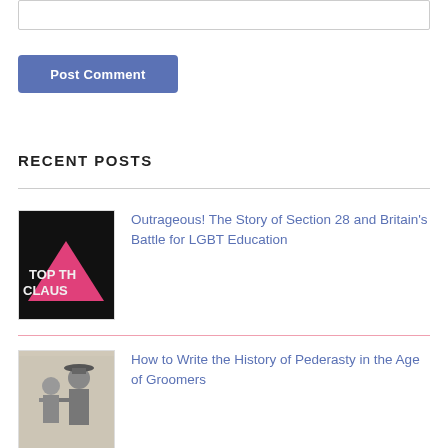[Figure (screenshot): Input text box (form field, partially visible at top)]
[Figure (screenshot): Blue 'Post Comment' button]
RECENT POSTS
[Figure (photo): Thumbnail image: black background with pink protest sign text reading 'STOP THE CLAUSE']
Outrageous! The Story of Section 28 and Britain's Battle for LGBT Education
[Figure (photo): Thumbnail image: black and white photo of two people, one wearing a hat]
How to Write the History of Pederasty in the Age of Groomers